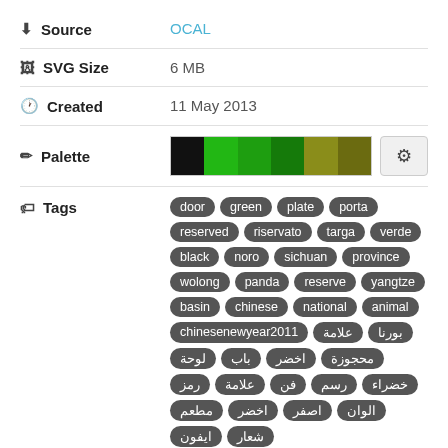Source: OCAL
SVG Size: 6 MB
Created: 11 May 2013
[Figure (other): Color palette strip showing black, bright green, medium green, dark green, olive, and dark olive/brown swatches with a settings gear button]
Tags: door, green, plate, porta, reserved, riservato, targa, verde, black, noro, sichuan, province, wolong, panda, reserve, yangtze, basin, chinese, national, animal, chinesenewyear2011, علامة, بورنا, لوحة, باب, اخضر, محجوزة, رمز, علامة, فن, رسم, خضراء, مطعم, اخضر, اصفر, الوان, ايفون, شعار
How to use on Facebook?
طريقة الاستخدام علي فيسبوك